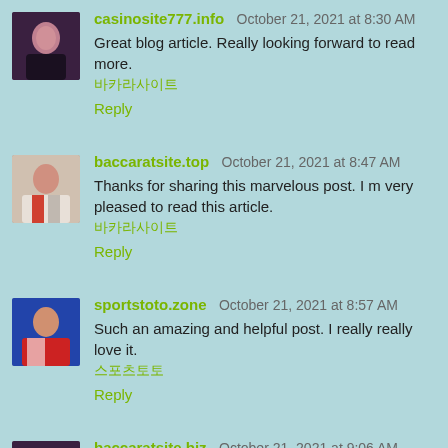casinosite777.info October 21, 2021 at 8:30 AM
Great blog article. Really looking forward to read more.
바카라사이트
Reply
baccaratsite.top October 21, 2021 at 8:47 AM
Thanks for sharing this marvelous post. I m very pleased to read this article.
바카라사이트
Reply
sportstoto.zone October 21, 2021 at 8:57 AM
Such an amazing and helpful post. I really really love it.
스포츠토토
Reply
baccaratsite.biz October 21, 2021 at 9:06 AM